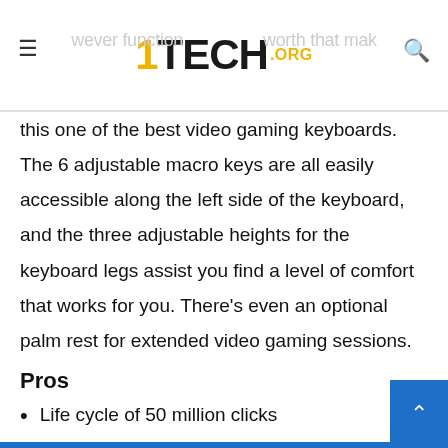1TECH.ORG
this one of the best video gaming keyboards. The 6 adjustable macro keys are all easily accessible along the left side of the keyboard, and the three adjustable heights for the keyboard legs assist you find a level of comfort that works for you. There's even an optional palm rest for extended video gaming sessions.
Pros
Life cycle of 50 million clicks